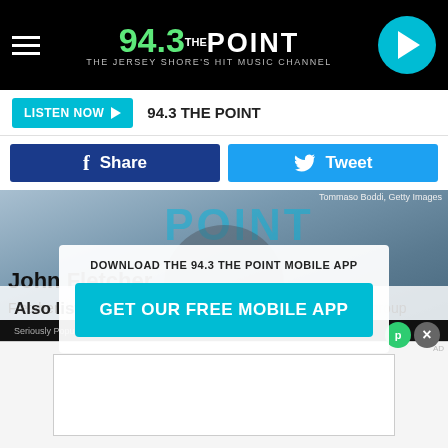94.3 The Point - The Jersey Shore's Hit Music Channel
LISTEN NOW ▶  94.3 THE POINT
Share  Tweet
[Figure (screenshot): Photo of John Fletcher (Ecstasy of Whodini) with POINT logo overlay and Tommaso Boddi Getty Images credit]
Tommaso Boddi, Getty Images
John Fletcher
Fletcher, best known as Ecstasy of the pioneering hip-hop group Whodini, passed away on December 23 of undisclosed causes. He was 56.
DOWNLOAD THE 94.3 THE POINT MOBILE APP
GET OUR FREE MOBILE APP
Also listen on:  amazon alexa
Seriously Popular  Daily 100  Seriously Popular  Daily Flatline